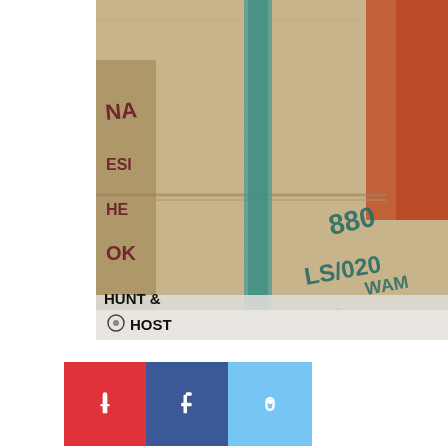[Figure (photo): Close-up photograph of burlap/hessian coffee sacks with teal/green stripe markings and stenciled text including numbers and letters. A red/orange fabric is visible in the background. White surface visible at bottom. Hunt & Host watermark logo in bottom-left corner of the photo.]
[Figure (infographic): Three social media share buttons: Pinterest (red), Facebook (dark blue), Twitter/social (light blue), each with a white icon.]